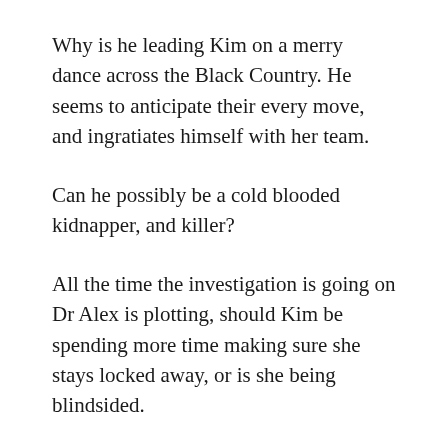Why is he leading Kim on a merry dance across the Black Country. He seems to anticipate their every move, and ingratiates himself with her team.
Can he possibly be a cold blooded kidnapper, and killer?
All the time the investigation is going on Dr Alex is plotting, should Kim be spending more time making sure she stays locked away, or is she being blindsided.
This is a belter of a story.
I recently watched a live Stream with Angela